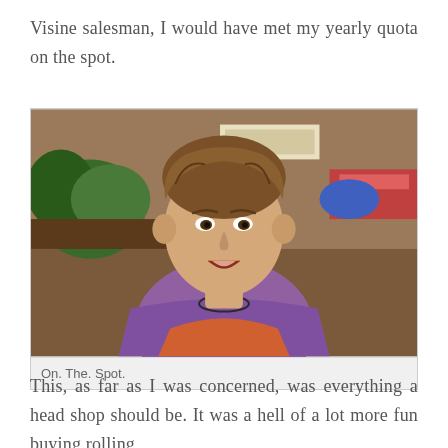Visine salesman, I would have met my yearly quota on the spot.
[Figure (photo): A young man with tousled brown hair wearing a purple/orange tie-dye hoodie, sitting in what appears to be a head shop with plants and shelves visible in the background.]
On. The. Spot.
This, as far as I was concerned, was everything a head shop should be. It was a hell of a lot more fun buying rolling